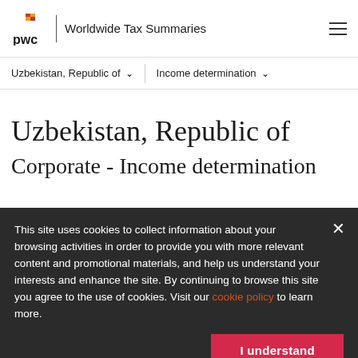PwC | Worldwide Tax Summaries
Uzbekistan, Republic of  ⌄   Income determination  ⌄
Uzbekistan, Republic of
Corporate - Income determination
This site uses cookies to collect information about your browsing activities in order to provide you with more relevant content and promotional materials, and help us understand your interests and enhance the site. By continuing to browse this site you agree to the use of cookies. Visit our cookie policy to learn more.
I understand
Contacts   News   Print   Search